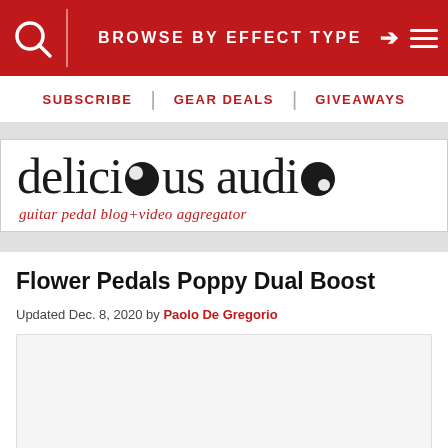BROWSE BY EFFECT TYPE
SUBSCRIBE | GEAR DEALS | GIVEAWAYS
[Figure (logo): Delicious Audio logo — stylized text reading 'delicious audio' with knob icons replacing the 'o' letters, and tagline 'guitar pedal blog+video aggregator' in red below]
Flower Pedals Poppy Dual Boost
Updated Dec. 8, 2020 by Paolo De Gregorio
[Figure (other): Gray placeholder image area for the article content]